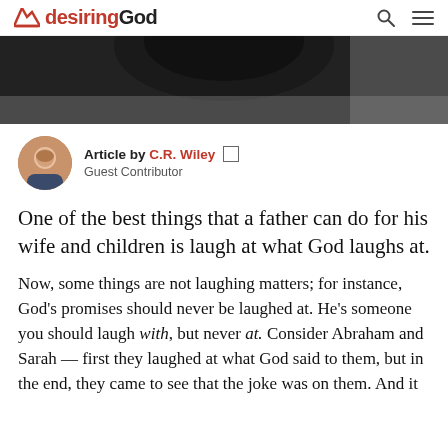desiringGod
[Figure (photo): Cropped photo header showing dark hair/head from behind, dark background]
Article by C.R. Wiley
Guest Contributor
One of the best things that a father can do for his wife and children is laugh at what God laughs at.
Now, some things are not laughing matters; for instance, God’s promises should never be laughed at. He’s someone you should laugh with, but never at. Consider Abraham and Sarah — first they laughed at what God said to them, but in the end, they came to see that the joke was on them. And it